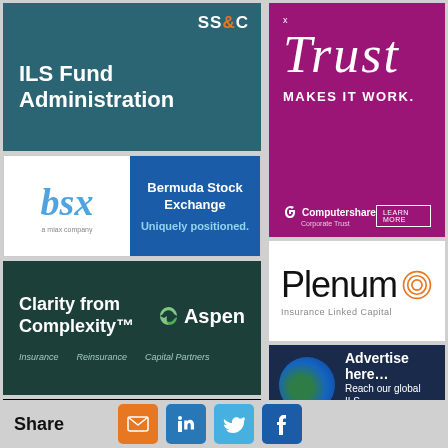[Figure (logo): SS&C ILS Fund Administration dark teal advertisement]
[Figure (logo): BSX Bermuda Stock Exchange - Uniquely positioned, a miax company]
[Figure (logo): Aspen Insurance - Clarity from Complexity, Insurance Reinsurance Capital Partners]
[Figure (logo): SCOR Investment Partners advertisement on black background]
[Figure (logo): Advertise here partial banner left column]
[Figure (logo): Computershare Corporate Trust - Trust Makes It Work purple advertisement]
[Figure (logo): Plenum Insurance Linked Capital white advertisement]
[Figure (logo): Advertise here - Reach our global ILS readership dark blue advertisement]
Share
[Figure (infographic): Share buttons: email (orange), LinkedIn (blue), Twitter (light blue), Facebook (blue)]